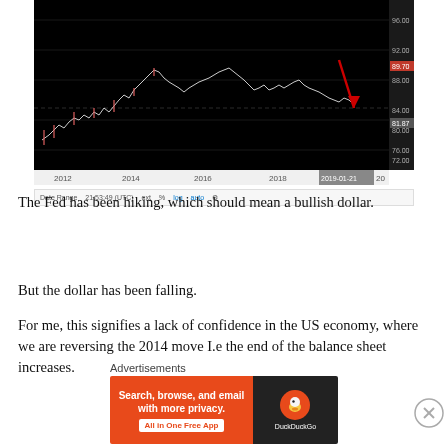[Figure (continuous-plot): Financial time series chart (dark background) showing price data from 2012 to 2019-01-21. The y-axis shows values from approximately 72.00 to 96.00. A red arrow points sharply downward from 2018 onward, indicating a price decline to around 81.87. Current price label shows 89.70 in red. Bottom toolbar shows 'Date Range', '21:53:49 (UTC)', 'ext', '%', 'log', 'auto', and settings icon.]
The Fed has been hiking, which should mean a bullish dollar.
But the dollar has been falling.
For me, this signifies a lack of confidence in the US economy, where we are reversing the 2014 move I.e the end of the balance sheet increases.
Advertisements
[Figure (other): DuckDuckGo advertisement banner. Left side orange: 'Search, browse, and email with more privacy. All in One Free App'. Right side dark: DuckDuckGo logo with duck icon.]